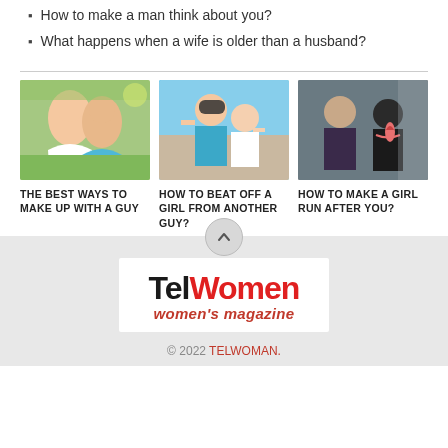How to make a man think about you?
What happens when a wife is older than a husband?
[Figure (photo): Three relationship article cards with photos: 1) smiling outdoor couple, 2) man with sunglasses and woman, 3) bearded man giving flower to woman]
THE BEST WAYS TO MAKE UP WITH A GUY
HOW TO BEAT OFF A GIRL FROM ANOTHER GUY?
HOW TO MAKE A GIRL RUN AFTER YOU?
[Figure (logo): TelWomen women's magazine logo]
© 2022 TELWOMAN.